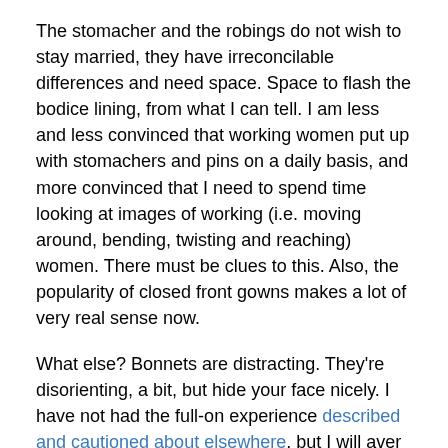The stomacher and the robings do not wish to stay married, they have irreconcilable differences and need space. Space to flash the bodice lining, from what I can tell. I am less and less convinced that working women put up with stomachers and pins on a daily basis, and more convinced that I need to spend time looking at images of working (i.e. moving around, bending, twisting and reaching) women. There must be clues to this. Also, the popularity of closed front gowns makes a lot of very real sense now.
What else? Bonnets are distracting. They're disorienting, a bit, but hide your face nicely. I have not had the full-on experience described and cautioned about elsewhere, but I will aver that bonnets do disorient you and you must be cautious. Especially around horses and crowds.